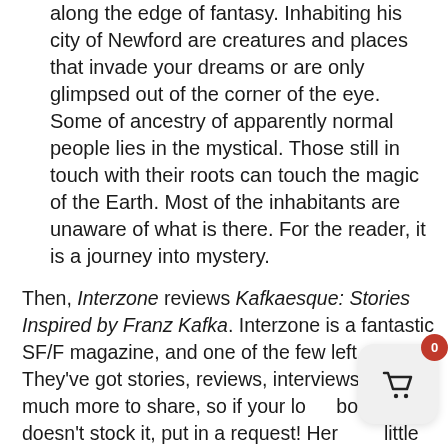along the edge of fantasy. Inhabiting his city of Newford are creatures and places that invade your dreams or are only glimpsed out of the corner of the eye. Some of ancestry of apparently normal people lies in the mystical. Those still in touch with their roots can touch the magic of the Earth. Most of the inhabitants are unaware of what is there. For the reader, it is a journey into mystery.
Then, Interzone reviews Kafkaesque: Stories Inspired by Franz Kafka. Interzone is a fantastic SF/F magazine, and one of the few left. They've got stories, reviews, interviews and much more to share, so if your local bookstore doesn't stock it, put in a request! Here's a little of what they have to say about Kafkaesque:
[Figure (other): Shopping basket icon with red badge showing count 0]